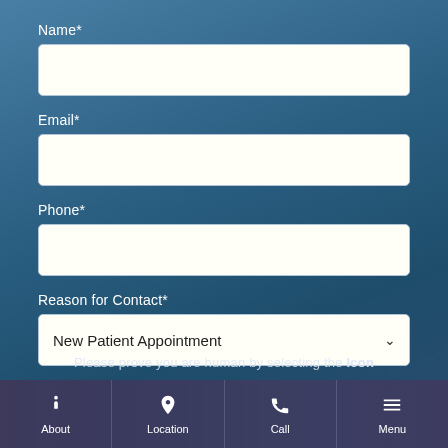Name*
Email*
Phone*
Reason for Contact*
New Patient Appointment
Please prove you are human by selecting the Icon
About | Location | Call | Menu